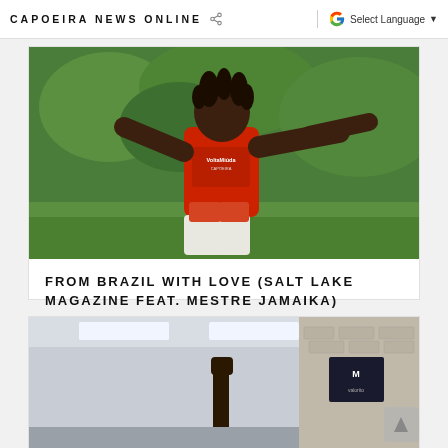CAPOEIRA NEWS ONLINE
[Figure (photo): A man in a red Volta Miuda Capoeira shirt performing a capoeira move outdoors on green grass, arms extended.]
FROM BRAZIL WITH LOVE (SALT LAKE MAGAZINE FEAT. MESTRE JAMAIKA)
NOVEMBER 27, 2020
[Figure (photo): Partial view of a capoeira practitioner performing a kick inside a gym/hall with fluorescent lighting and brick walls.]